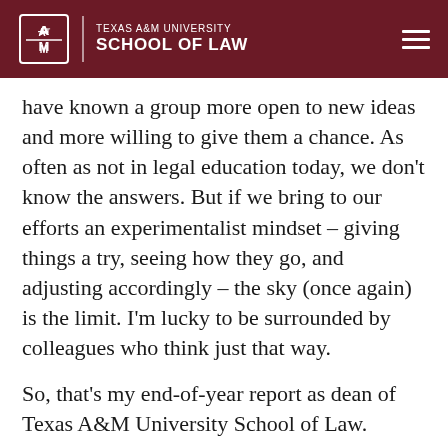TEXAS A&M UNIVERSITY SCHOOL OF LAW
have known a group more open to new ideas and more willing to give them a chance. As often as not in legal education today, we don't know the answers. But if we bring to our efforts an experimentalist mindset – giving things a try, seeing how they go, and adjusting accordingly – the sky (once again) is the limit. I'm lucky to be surrounded by colleagues who think just that way.
So, that's my end-of-year report as dean of Texas A&M University School of Law.
In sum: It's been a blast!